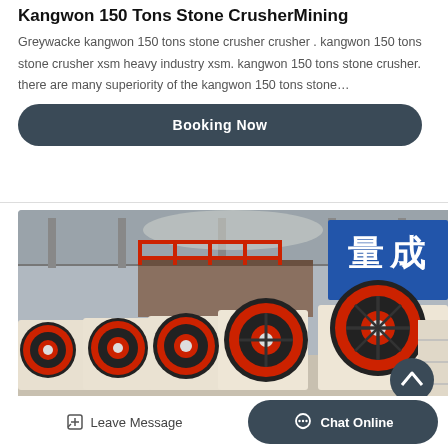Kangwon 150 Tons Stone CrusherMining
Greywacke kangwon 150 tons stone crusher crusher . kangwon 150 tons stone crusher xsm heavy industry xsm. kangwon 150 tons stone crusher. there are many superiority of the kangwon 150 tons stone…
Booking Now
[Figure (photo): Industrial stone crusher machinery with large red and black flywheel wheels lined up in a factory warehouse setting, with steel scaffolding and blue signage in the background.]
Leave Message
Chat Online